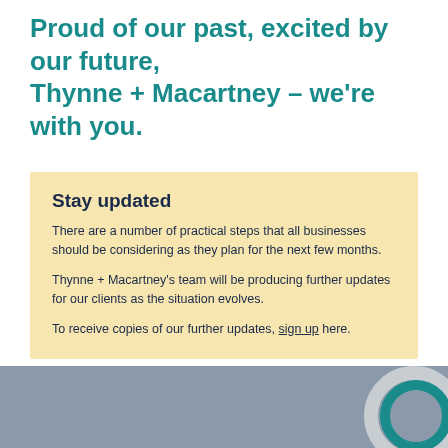Proud of our past, excited by our future, Thynne + Macartney – we're with you.
Stay updated
There are a number of practical steps that all businesses should be considering as they plan for the next few months.
Thynne + Macartney's team will be producing further updates for our clients as the situation evolves.
To receive copies of our further updates, sign up here.